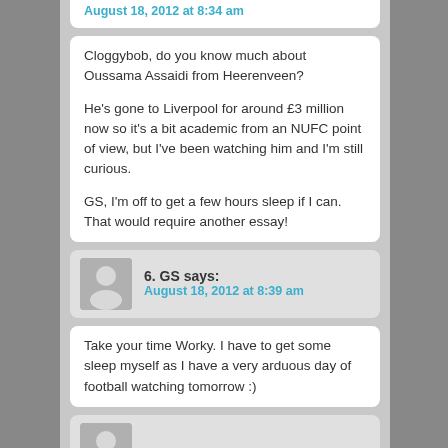August 18, 2012 at 8:34 am
Cloggybob, do you know much about Oussama Assaidi from Heerenveen?

He's gone to Liverpool for around £3 million now so it's a bit academic from an NUFC point of view, but I've been watching him and I'm still curious.

GS, I'm off to get a few hours sleep if I can. That would require another essay!
6. GS says:
August 18, 2012 at 8:39 am
Take your time Worky. I have to get some sleep myself as I have a very arduous day of football watching tomorrow :)